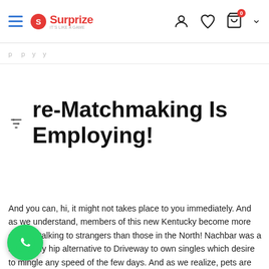Surprize — Navigation header with hamburger menu, logo, user icon, heart icon, cart icon (0), chevron
p p y y
re-Matchmaking Is Employing!
And you can, hi, it might not takes place to you immediately. And as we understand, members of this new Kentucky become more open to talking to strangers than those in the North! Nachbar was a splendidly hip alternative to Driveway to own singles which desire to mingle any speed of the few days. And as we realize, pets are the best discussion beginners Actually. Lexington bleeds audio.
When you do as well, you need to start using shows since towns and cities in order to satisfy Louisville singles. Consider this if you m the shows, you realize needless to say one anyone who k to shares your likes during the sounds. Undecided which place to go? Howl from the Lexington constantly possess a no cost